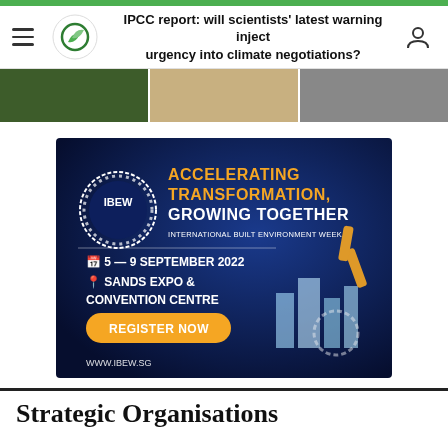IPCC report: will scientists' latest warning inject urgency into climate negotiations?
[Figure (photo): Three-panel photo strip showing people in environmental/scientific context]
[Figure (infographic): IBEW advertisement banner: ACCELERATING TRANSFORMATION, GROWING TOGETHER - International Built Environment Week, 5-9 September 2022, Sands Expo & Convention Centre, Register Now, www.ibew.sg]
Strategic Organisations